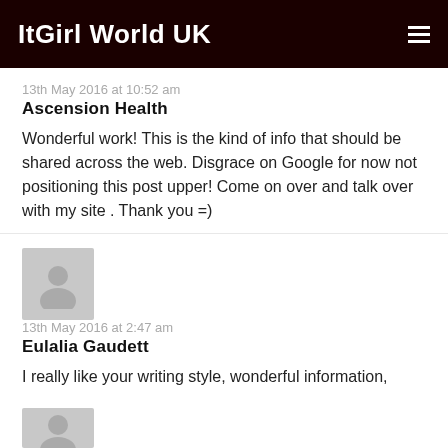ItGirl World UK
13th May 2016 at 10:52 am
Ascension Health
Wonderful work! This is the kind of info that should be shared across the web. Disgrace on Google for now not positioning this post upper! Come on over and talk over with my site . Thank you =)
[Figure (illustration): Grey avatar placeholder icon for user]
13th May 2016 at 2:47 am
Eulalia Gaudett
I really like your writing style, wonderful information, thanks for posting : D.
[Figure (illustration): Grey avatar placeholder icon for user (partially visible at bottom)]